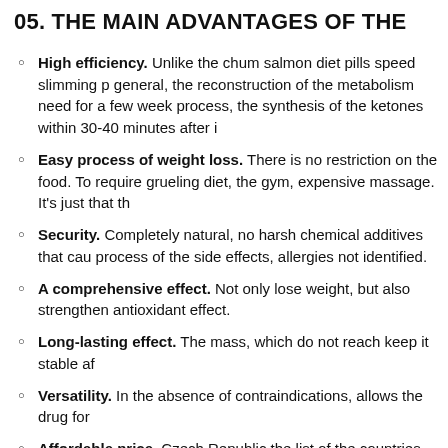05. THE MAIN ADVANTAGES OF THE
High efficiency. Unlike the chum salmon diet pills speed slimming p general, the reconstruction of the metabolism need for a few week process, the synthesis of the ketones within 30-40 minutes after i
Easy process of weight loss. There is no restriction on the food. To require grueling diet, the gym, expensive massage. It's just that th
Security. Completely natural, no harsh chemical additives that cau process of the side effects, allergies not identified.
A comprehensive effect. Not only lose weight, but also strengthen antioxidant effect.
Long-lasting effect. The mass, which do not reach keep it stable af
Versatility. In the absence of contraindications, allows the drug for
Affordable price. Czech Republic the list of the countries that have